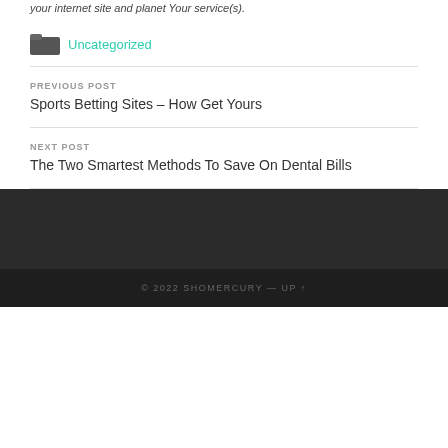your internet site and planet Your service(s).
Uncategorized
PREVIOUS POST
Sports Betting Sites – How Get Yours
NEXT POST
The Two Smartest Methods To Save On Dental Bills
© 2022 SHOMERCURY — UP ↑